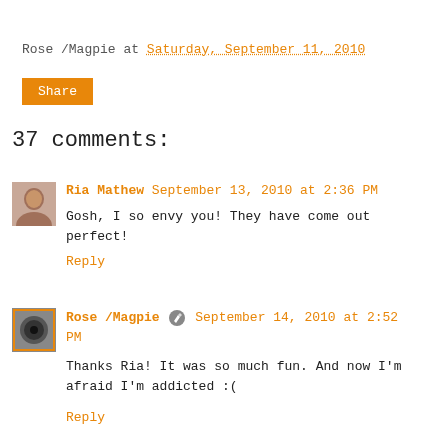Rose /Magpie at Saturday, September 11, 2010
Share
37 comments:
Ria Mathew September 13, 2010 at 2:36 PM
Gosh, I so envy you! They have come out perfect!
Reply
Rose /Magpie [pencil icon] September 14, 2010 at 2:52 PM
Thanks Ria! It was so much fun. And now I'm afraid I'm addicted :(
Reply